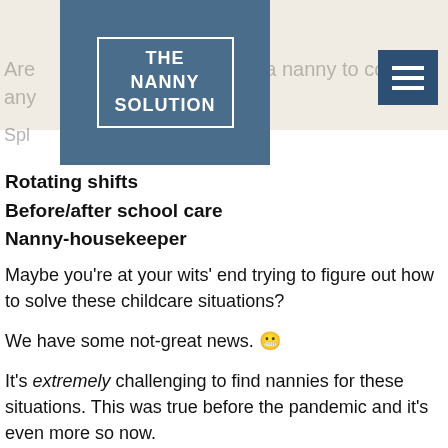[Figure (logo): The Nanny Solution logo — white text on blue square background with border rectangle]
Are you currently looking for a nanny to cover any scenarios?
Spl
Rotating shifts
Before/after school care
Nanny-housekeeper
Maybe you're at your wits' end trying to figure out how to solve these childcare situations?
We have some not-great news. 😬
It's extremely challenging to find nannies for these situations. This was true before the pandemic and it's even more so now.